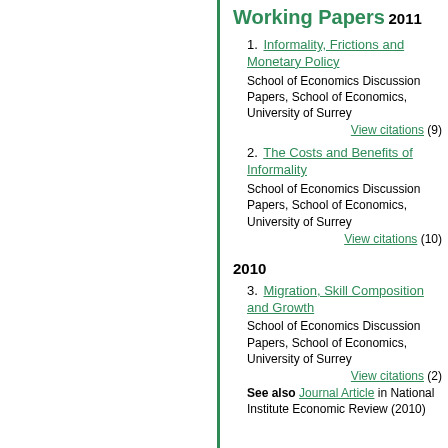Working Papers
2011
1. Informality, Frictions and Monetary Policy
School of Economics Discussion Papers, School of Economics, University of Surrey
View citations (9)
2. The Costs and Benefits of Informality
School of Economics Discussion Papers, School of Economics, University of Surrey
View citations (10)
2010
3. Migration, Skill Composition and Growth
School of Economics Discussion Papers, School of Economics, University of Surrey
View citations (2)
See also Journal Article in National Institute Economic Review (2010)